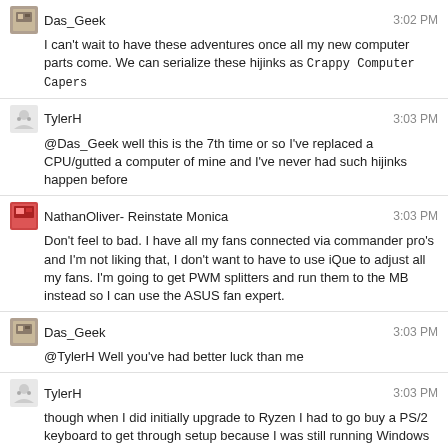Das_Geek 3:02 PM — I can't wait to have these adventures once all my new computer parts come. We can serialize these hijinks as Crappy Computer Capers
TylerH 3:03 PM — @Das_Geek well this is the 7th time or so I've replaced a CPU/gutted a computer of mine and I've never had such hijinks happen before
NathanOliver- Reinstate Monica 3:03 PM — Don't feel to bad. I have all my fans connected via commander pro's and I'm not liking that, I don't want to have to use iQue to adjust all my fans. I'm going to get PWM splitters and run them to the MB instead so I can use the ASUS fan expert.
Das_Geek 3:03 PM — @TylerH Well you've had better luck than me
TylerH 3:03 PM — though when I did initially upgrade to Ryzen I had to go buy a PS/2 keyboard to get through setup because I was still running Windows 7. And I had to hack the update process to still get updates for a while
Das_Geek 3:04 PM — @TylerH Thats what made me take the jump to new hardware. My stuff is so old it won't upgrade to 10
TylerH 3:04 PM — before that the worst luck I had was the first time I ever tried to upgrade something in a computer -- bought a new motherboard and it came Dead On Arrival
NathanOliver- Reinstate Monica 3:04 PM (partial)